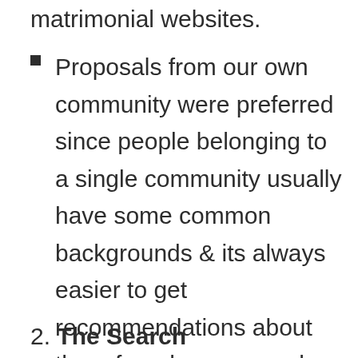matrimonial websites.
Proposals from our own community were preferred since people belonging to a single community usually have some common backgrounds & its always easier to get recommendations about them from known people.
2. The Search